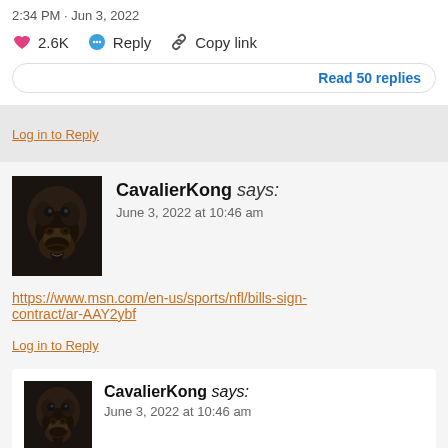2:34 PM · Jun 3, 2022
❤ 2.6K   Reply   Copy link
Read 50 replies
Log in to Reply
CavalierKong says: June 3, 2022 at 10:46 am
https://www.msn.com/en-us/sports/nfl/bills-sign-contract/ar-AAY2ybf
Log in to Reply
CavalierKong says: June 3, 2022 at 10:46 am